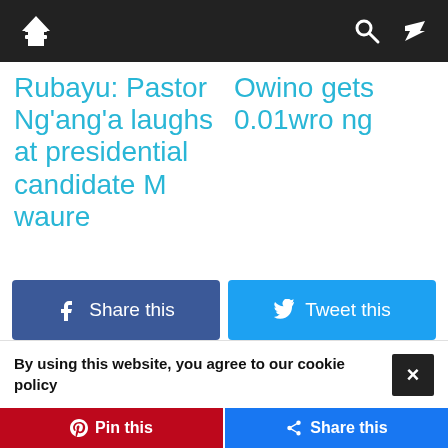Navigation bar with home, search, and shuffle icons
Rubayu: Pastor Ng'ang'a laughs at presidential candidate Mwaure
Owino gets 0.01wrong
[Figure (screenshot): Facebook Share this button and Twitter Tweet this button]
By using this website, you agree to our cookie policy
[Figure (screenshot): Pinterest Pin this and Share this buttons at the bottom]